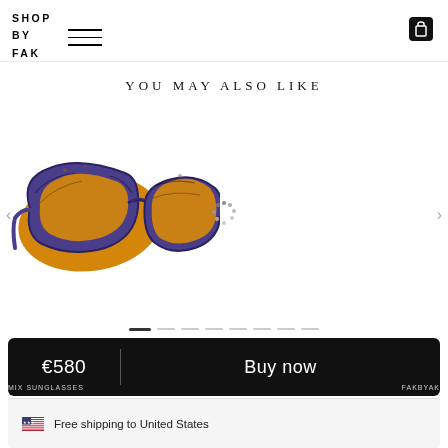SHOP BY FAK
YOU MAY ALSO LIKE
[Figure (photo): A pair of cat-eye sunglasses with a purple/blue patterned frame and yellow-orange lenses, shown at an angle on a white background.]
[Figure (other): Loading spinner graphic (circular dots) indicating content is loading.]
€580  |  Buy now
Free shipping to United States
#FASHION SUNGLASSES
#FAKBYAK X PILAR ZETA